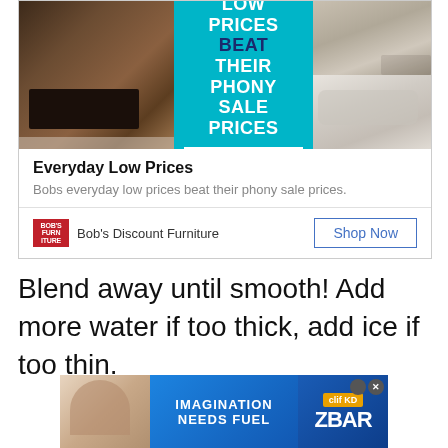[Figure (advertisement): Bob's Discount Furniture advertisement with teal background showing 'Everyday Low Prices Beat Their Phony Sale Prices' headline, bedroom photo on left, sofa photos on right, and 'Shop My Best Values' button]
Everyday Low Prices
Bobs everyday low prices beat their phony sale prices.
Bob's Discount Furniture
Shop Now
Blend away until smooth! Add more water if too thick, add ice if too thin.
[Figure (advertisement): Clif Kid ZBar advertisement with blue background showing 'Imagination Needs Fuel' text, child eating bar on left, and ZBar product on right]